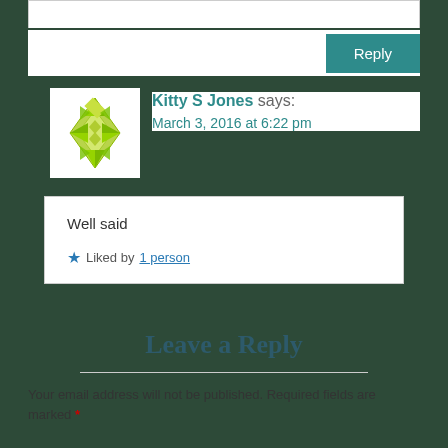[Figure (illustration): Comment box top border area with Reply button on the right]
[Figure (illustration): Green snowflake/geometric avatar for user Kitty S Jones]
Kitty S Jones says:
March 3, 2016 at 6:22 pm
Well said
★ Liked by 1 person
Leave a Reply
Your email address will not be published. Required fields are marked *